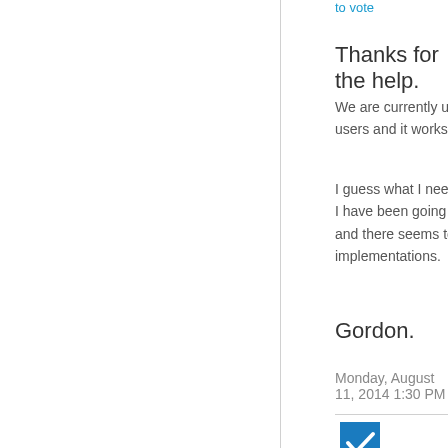to vote
Thanks for the help.
We are currently using PEAP-MSCHAPv2 for our internal users and it works great.
I guess what I need to know is what is a "shadow account".   I have been going through a few different articles on google and there seems to a few different definitions or implementations.
Gordon.
Monday, August 11, 2014 1:30 PM
[Figure (other): Blue checkbox with white checkmark icon]